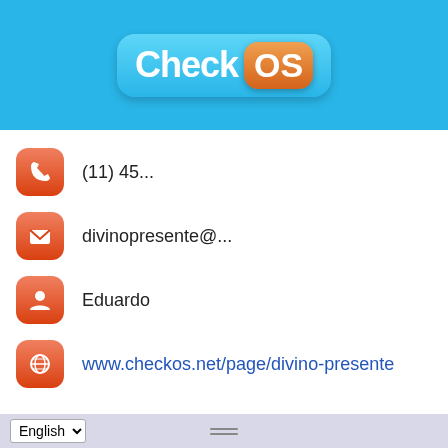[Figure (logo): CheckOS logo with blue pill-shaped background and orange OS badge]
(11) 45...
divinopresente@...
Eduardo
www.checkos.net/page/divino-presente
Registered activities at CheckOS by DIVINO PRESENTE
Work Order related of Services of the Other 3 nokias
Work Order related of Services of the Other ASSIS
English